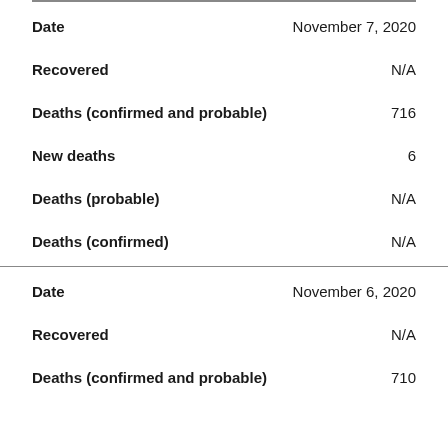| Field | Value |
| --- | --- |
| Date | November 7, 2020 |
| Recovered | N/A |
| Deaths (confirmed and probable) | 716 |
| New deaths | 6 |
| Deaths (probable) | N/A |
| Deaths (confirmed) | N/A |
| Date | November 6, 2020 |
| Recovered | N/A |
| Deaths (confirmed and probable) | 710 |